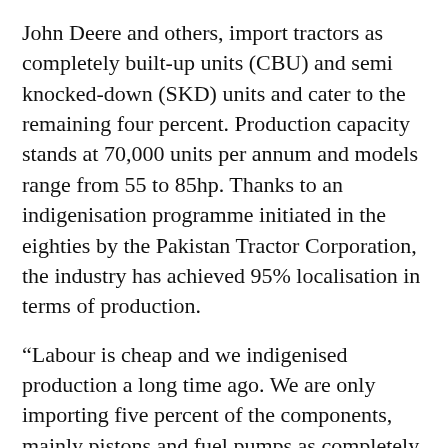John Deere and others, import tractors as completely built-up units (CBU) and semi knocked-down (SKD) units and cater to the remaining four percent. Production capacity stands at 70,000 units per annum and models range from 55 to 85hp. Thanks to an indigenisation programme initiated in the eighties by the Pakistan Tractor Corporation, the industry has achieved 95% localisation in terms of production.
“Labour is cheap and we indigenised production a long time ago. We are only importing five percent of the components, mainly pistons and fuel pumps as completely knocked-down (CKD) units. So there is no amortisation cost; hence, we only have the variable cost of production. This is why, Pakistan makes the lowest priced tractors in the world. A 55hp tractor that costs about $7,000 in Pakistan would cost in the region of $20,000 in Turkey, $25,000 in Europe and $30,000 in USA” said Saeed Mushtaq, Head of Marketing, Al-Ghazi